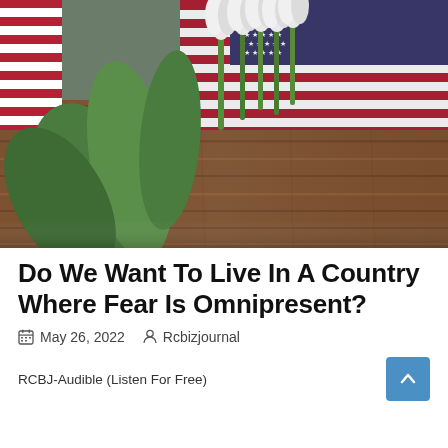[Figure (photo): American flag draped on a wooden surface alongside a bouquet of white tulips with green stems and leaves.]
Do We Want To Live In A Country Where Fear Is Omnipresent?
May 26, 2022   Rcbizjournal
RCBJ-Audible (Listen For Free)